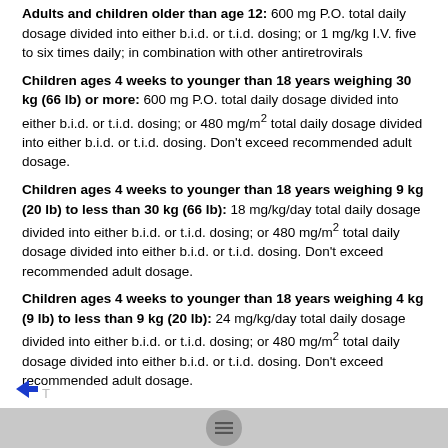Adults and children older than age 12: 600 mg P.O. total daily dosage divided into either b.i.d. or t.i.d. dosing; or 1 mg/kg I.V. five to six times daily; in combination with other antiretrovirals
Children ages 4 weeks to younger than 18 years weighing 30 kg (66 lb) or more: 600 mg P.O. total daily dosage divided into either b.i.d. or t.i.d. dosing; or 480 mg/m2 total daily dosage divided into either b.i.d. or t.i.d. dosing. Don't exceed recommended adult dosage.
Children ages 4 weeks to younger than 18 years weighing 9 kg (20 lb) to less than 30 kg (66 lb): 18 mg/kg/day total daily dosage divided into either b.i.d. or t.i.d. dosing; or 480 mg/m2 total daily dosage divided into either b.i.d. or t.i.d. dosing. Don't exceed recommended adult dosage.
Children ages 4 weeks to younger than 18 years weighing 4 kg (9 lb) to less than 9 kg (20 lb): 24 mg/kg/day total daily dosage divided into either b.i.d. or t.i.d. dosing; or 480 mg/m2 total daily dosage divided into either b.i.d. or t.i.d. dosing. Don't exceed recommended adult dosage.